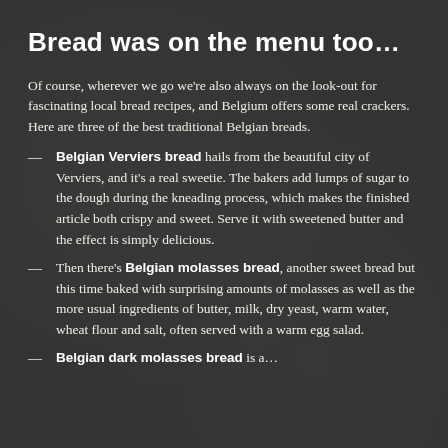Bread was on the menu too…
Of course, wherever we go we're also always on the look-out for fascinating local bread recipes, and Belgium offers some real crackers. Here are three of the best traditional Belgian breads.
Belgian Verviers bread hails from the beautiful city of Verviers, and it's a real sweetie. The bakers add lumps of sugar to the dough during the kneading process, which makes the finished article both crispy and sweet. Serve it with sweetened butter and the effect is simply delicious.
Then there's Belgian molasses bread, another sweet bread but this time baked with surprising amounts of molasses as well as the more usual ingredients of butter, milk, dry yeast, warm water, wheat flour and salt, often served with a warm egg salad.
Belgian dark molasses bread is a…